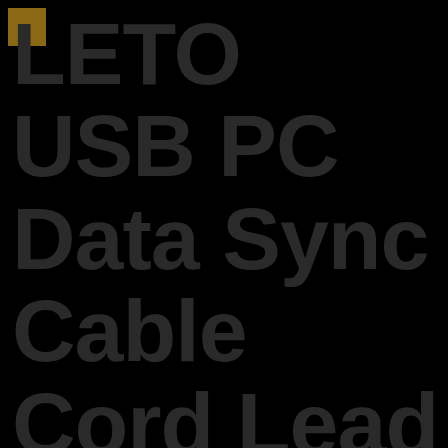[Figure (logo): Small golden/brown square logo in top-left corner]
LETO USB PC Data Sync Cable Cord Lead